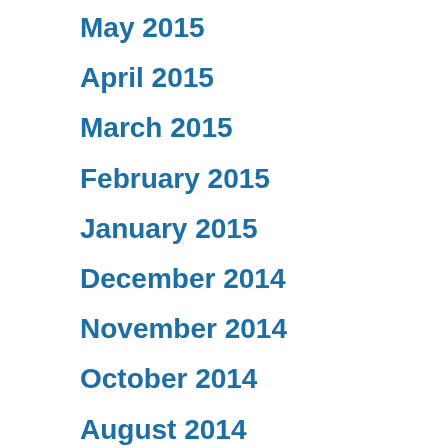May 2015
April 2015
March 2015
February 2015
January 2015
December 2014
November 2014
October 2014
August 2014
June 2014
May 2014